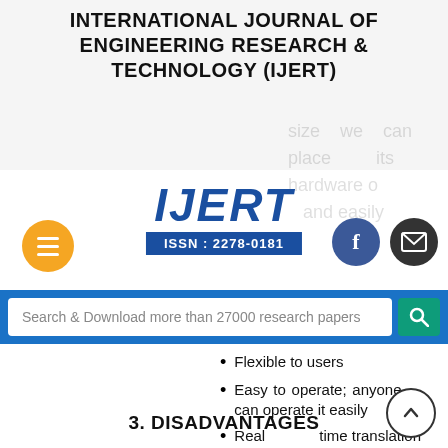INTERNATIONAL JOURNAL OF ENGINEERING RESEARCH & TECHNOLOGY (IJERT)
[Figure (logo): IJERT logo with ISSN: 2278-0181]
Search & Download more than 27000 research papers
Flexible to users
Easy to operate; anyone can operate it easily
Real time translation
3. DISADVANTAGES